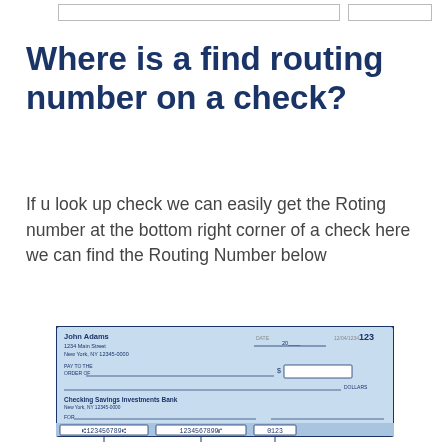Where is a find routing number on a check?
If u look up check we can easily get the Roting number at the bottom right corner of a check here we can find the Routing Number below
[Figure (illustration): Sample check image showing John Adams, 1234 Main Street, New York NY 12345-0000, check number 123, with MICR line at bottom showing routing number 123456789, account number 1234567899, and check number 0123. Labels: Checking Savings Investments Bank.]